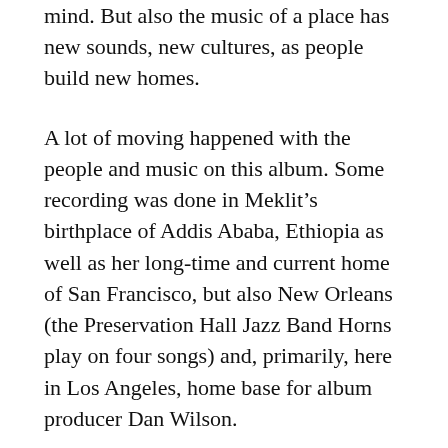mind. But also the music of a place has new sounds, new cultures, as people build new homes.
A lot of moving happened with the people and music on this album. Some recording was done in Meklit’s birthplace of Addis Ababa, Ethiopia as well as her long-time and current home of San Francisco, but also New Orleans (the Preservation Hall Jazz Band Horns play on four songs) and, primarily, here in Los Angeles, home base for album producer Dan Wilson.
The joyous “You Are My Luck” is buoyant Ethiopianized soul, featuring Los Angeles-based, Ethiopian-born pianist Kibrom Birhame and the Preservation Hall Horns. East African